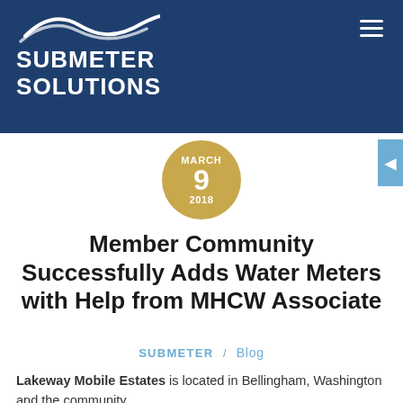[Figure (logo): Submeter Solutions logo with wave graphic and company name in white on dark navy blue header background]
MARCH 9 2018
Member Community Successfully Adds Water Meters with Help from MHCW Associate
SUBMETER / Blog
Lakeway Mobile Estates is located in Bellingham, Washington and the community